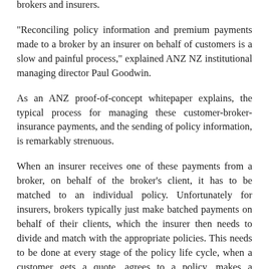brokers and insurers.
"Reconciling policy information and premium payments made to a broker by an insurer on behalf of customers is a slow and painful process," explained ANZ NZ institutional managing director Paul Goodwin.
As an ANZ proof-of-concept whitepaper explains, the typical process for managing these customer-broker-insurance payments, and the sending of policy information, is remarkably strenuous.
When an insurer receives one of these payments from a broker, on behalf of the broker's client, it has to be matched to an individual policy. Unfortunately for insurers, brokers typically just make batched payments on behalf of their clients, which the insurer then needs to divide and match with the appropriate policies. This needs to be done at every stage of the policy life cycle, when a customer gets a quote, agrees to a policy, makes a premium payment and then at every renewal. The end result is a constant back-and-forth stream of payments and policy information, which needs to be constantly sorted, divided and